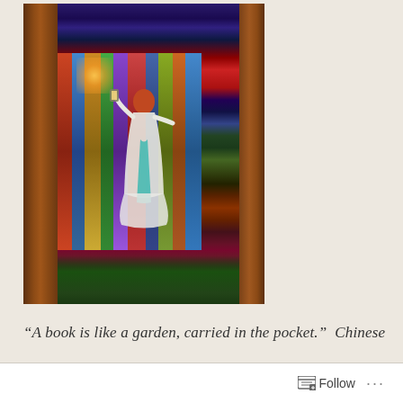[Figure (illustration): Fantasy digital illustration of a woman in a white and teal dress holding a lantern, standing before a magical bookshelf filled with colorful book spines, viewed from behind, with a night sky and moon at the top, and green foliage at the bottom. The image is framed by what appears to be the pages of a large open book.]
“A book is like a garden, carried in the pocket.”  Chinese